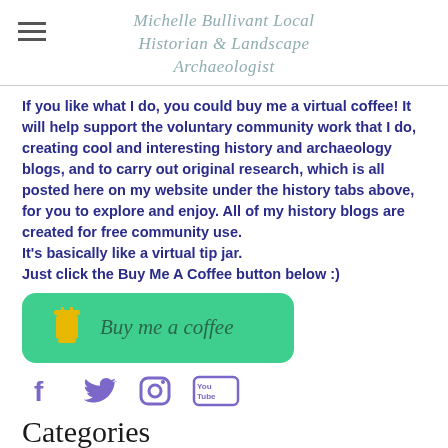Michelle Bullivant Local Historian & Landscape Archaeologist
If you like what I do, you could buy me a virtual coffee! It will help support the voluntary community work that I do, creating cool and interesting history and archaeology blogs, and to carry out original research, which is all posted here on my website under the history tabs above, for you to explore and enjoy. All of my history blogs are created for free community use.
It's basically like a virtual tip jar.
Just click the Buy Me A Coffee button below :)
[Figure (other): Buy me a coffee button — green rounded rectangle with coffee cup icon and italic text 'Buy me a coffee']
[Figure (other): Social media icons row: Facebook, Twitter, Instagram, YouTube]
Categories